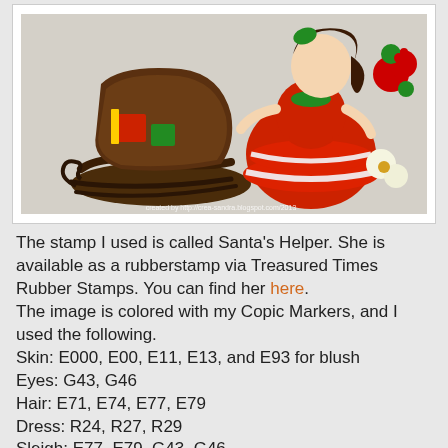[Figure (illustration): Colored illustration of Santa's Helper girl in red dress with sleigh, Christmas scene, watermark reading 'created by http://crea-sandra.blogspot.com/2013']
The stamp I used is called Santa's Helper. She is available as a rubberstamp via Treasured Times Rubber Stamps. You can find her here.
The image is colored with my Copic Markers, and I used the following.
Skin: E000, E00, E11, E13, and E93 for blush
Eyes: G43, G46
Hair: E71, E74, E77, E79
Dress: R24, R27, R29
Sleigh: E77, E79, G43, G46
[Figure (photo): Partial view of a second Christmas-themed illustration, showing a girl with brown hair in red outfit, and text panel with 'Merry Christmas' repeated, partially cut off]